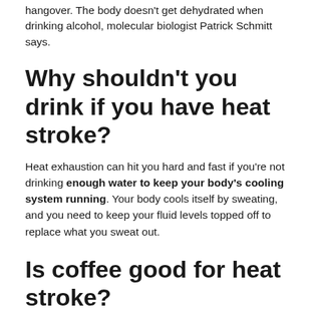hangover. The body doesn't get dehydrated when drinking alcohol, molecular biologist Patrick Schmitt says.
Why shouldn't you drink if you have heat stroke?
Heat exhaustion can hit you hard and fast if you're not drinking enough water to keep your body's cooling system running. Your body cools itself by sweating, and you need to keep your fluid levels topped off to replace what you sweat out.
Is coffee good for heat stroke?